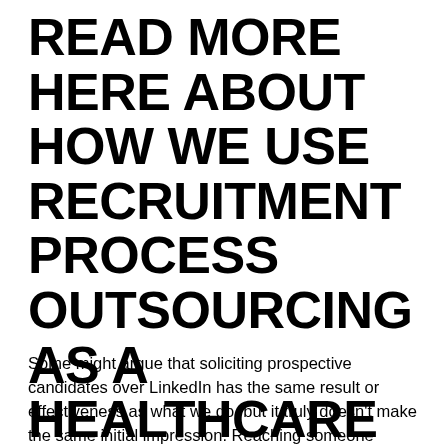READ MORE HERE ABOUT HOW WE USE RECRUITMENT PROCESS OUTSOURCING AS A HEALTHCARE AND PHARMACY JOB PLACEMENT AGENCY.
Some might argue that soliciting prospective candidates over LinkedIn has the same result or effectiveness as what we do, but it truly doesn't make the same initial impression. Reaching someone directly over the phone, maybe even at their current place of